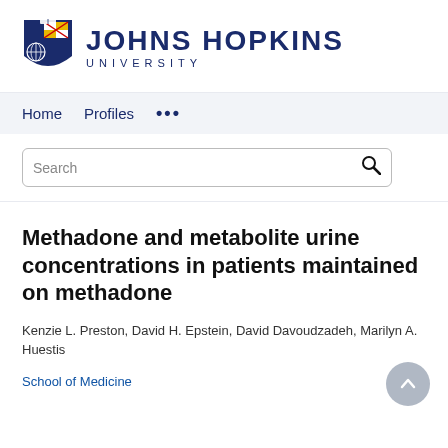[Figure (logo): Johns Hopkins University logo with shield crest and text 'JOHNS HOPKINS UNIVERSITY']
Home   Profiles   ...
Search
Methadone and metabolite urine concentrations in patients maintained on methadone
Kenzie L. Preston, David H. Epstein, David Davoudzadeh, Marilyn A. Huestis
School of Medicine